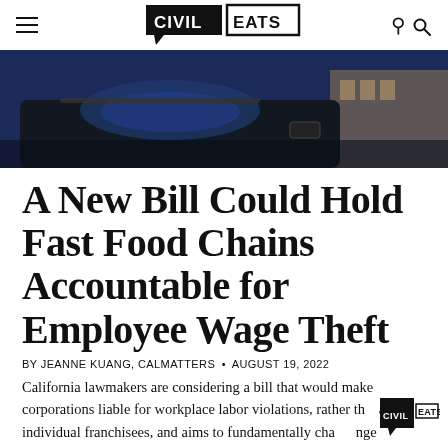Civil Eats
[Figure (photo): A dark photo showing the top of a car/vehicle near what appears to be a fast food drive-through, blue and dark tones]
A New Bill Could Hold Fast Food Chains Accountable for Employee Wage Theft
BY JEANNE KUANG, CALMATTERS • AUGUST 19, 2022
California lawmakers are considering a bill that would make corporations liable for workplace labor violations, rather than individual franchisees, and aims to fundamentally change workers' relationship to fast food chains.